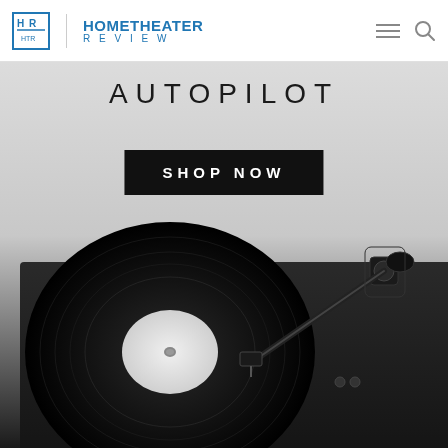Home Theater Review
[Figure (illustration): Advertisement banner for 'AUTOPILOT' turntable product. Shows a close-up photo of a black vinyl record player/turntable with tonearm. Text reads 'AUTOPILOT' at the top in spaced uppercase letters, and a black button labeled 'SHOP NOW' in the center. Background is light gray gradient fading to the dark turntable image.]